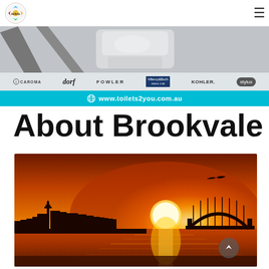toilets2you logo and hamburger menu
[Figure (photo): Banner advertisement showing toilet/bathroom brands: Caroma, dorf, FOWLER, Villeroy & Boch, KOHLER, stylus. Below brands: www.toilets2you.com.au on a cyan/teal bar. Top portion shows bathroom fixtures in grey tones.]
About Brookvale
[Figure (photo): Dramatic Sydney sunset photo showing the city skyline silhouetted against a bright orange and golden sky with the sun setting. The Sydney Harbour Bridge is visible on the right side, a seagull is flying in the upper right, and the water reflects the orange glow. Sky Tower is visible on the left of the skyline.]